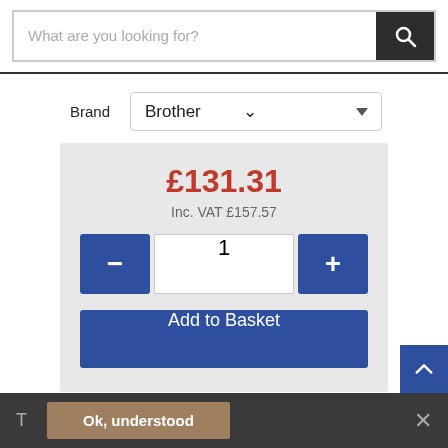[Figure (screenshot): Search bar with placeholder text 'What are you looking for?' and dark search icon button on right]
Brand
Brother
£131.31
Inc. VAT £157.57
1
Add to Basket
Description
Ok, understood